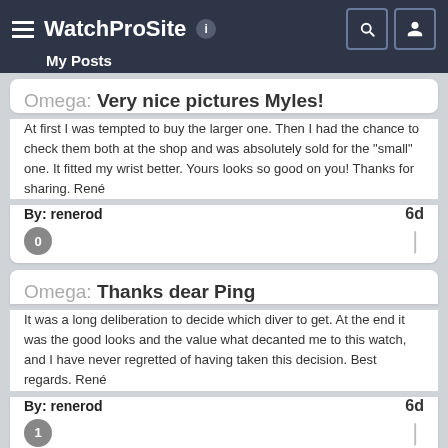WatchProSite — My Posts
Omega: Very nice pictures Myles!
At first I was tempted to buy the larger one. Then I had the chance to check them both at the shop and was absolutely sold for the "small" one. It fitted my wrist better. Yours looks so good on you! Thanks for sharing. René
By: renerod    6d
Omega: Thanks dear Ping
It was a long deliberation to decide which diver to get. At the end it was the good looks and the value what decanted me to this watch, and I have never regretted of having taken this decision. Best regards. René
By: renerod    6d
Horological Meandering: Ohhhh! Thank you very much for sharing!